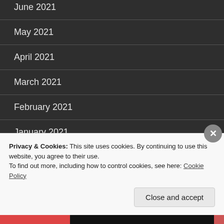June 2021
May 2021
April 2021
March 2021
February 2021
January 2021
December 2020
Privacy & Cookies: This site uses cookies. By continuing to use this website, you agree to their use. To find out more, including how to control cookies, see here: Cookie Policy
Close and accept